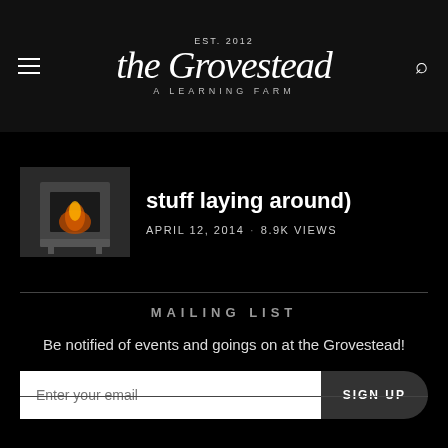EST. 2012 the Grovestead A LEARNING FARM
stuff laying around)
APRIL 12, 2014 · 8.9K VIEWS
MAILING LIST
Be notified of events and goings on at the Grovestead!
Enter your email  SIGN UP